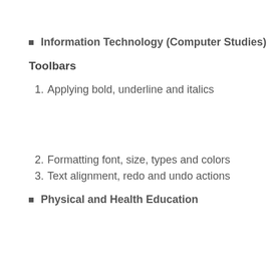Information Technology (Computer Studies)
Toolbars
1. Applying bold, underline and italics
2. Formatting font, size, types and colors
3. Text alignment, redo and undo actions
Physical and Health Education